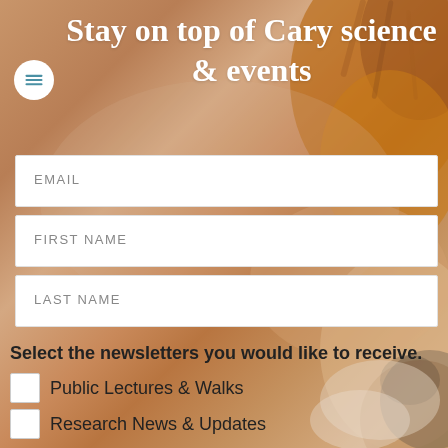Stay on top of Cary science & events
EMAIL
FIRST NAME
LAST NAME
Select the newsletters you would like to receive.
Public Lectures & Walks
Research News & Updates